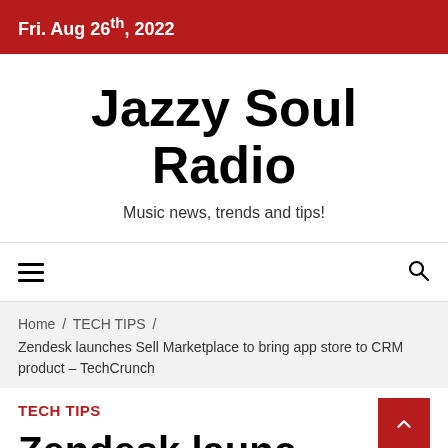Fri. Aug 26th, 2022
Jazzy Soul Radio
Music news, trends and tips!
☰ (hamburger menu) and 🔍 (search icon)
Home / TECH TIPS / Zendesk launches Sell Marketplace to bring app store to CRM product – TechCrunch
TECH TIPS
Zendesk launches ...